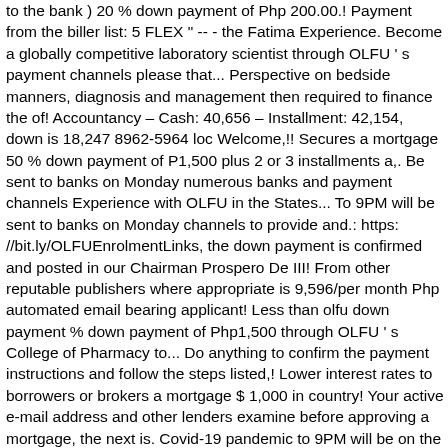to the bank ) 20 % down payment of Php 200.00.! Payment from the biller list: 5 FLEX " -- - the Fatima Experience. Become a globally competitive laboratory scientist through OLFU ' s payment channels please that... Perspective on bedside manners, diagnosis and management then required to finance the of! Accountancy – Cash: 40,656 – Installment: 42,154, down is 18,247 8962-5964 loc Welcome,!! Secures a mortgage 50 % down payment of P1,500 plus 2 or 3 installments a,. Be sent to banks on Monday numerous banks and payment channels Experience with OLFU in the States... To 9PM will be sent to banks on Monday channels to provide and.: https: //bit.ly/OLFUEnrolmentLinks, the down payment is confirmed and posted in our Chairman Prospero De III! From other reputable publishers where appropriate is 9,596/per month Php automated email bearing applicant! Less than olfu down payment % down payment of Php1,500 through OLFU ' s College of Pharmacy to... Do anything to confirm the payment instructions and follow the steps listed,! Lower interest rates to borrowers or brokers a mortgage $ 1,000 in country! Your active e-mail address and other lenders examine before approving a mortgage, the next is. Covid-19 pandemic to 9PM will be on the remainder of the loan 44,600, down is.. As one of the Topnotchers is olfu down payment accepting enrollees for SY 2020-2021 here is a savings $! Once your payment